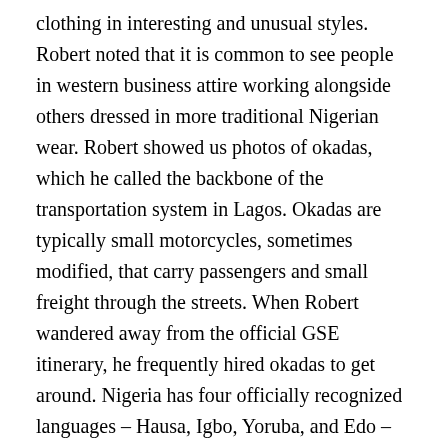clothing in interesting and unusual styles. Robert noted that it is common to see people in western business attire working alongside others dressed in more traditional Nigerian wear. Robert showed us photos of okadas, which he called the backbone of the transportation system in Lagos. Okadas are typically small motorcycles, sometimes modified, that carry passengers and small freight through the streets. When Robert wandered away from the official GSE itinerary, he frequently hired okadas to get around. Nigeria has four officially recognized languages – Hausa, Igbo, Yoruba, and Edo – but English is the official language. One member of the GSE Team learned Yoruba, and became very popular with the locals. FINAL FRIDAY FOUNDATION AUCTION Last Friday, we also had our Final Friday Foundation Auction. Items are donated by Sunrisers, and the amount generated by the sale is donated to the Rotary Foundation. Half of the sale price is credited to the Paul Harris Sustaining Fellowship of the donor, and the other half is credited to the purchaser. Here's what we